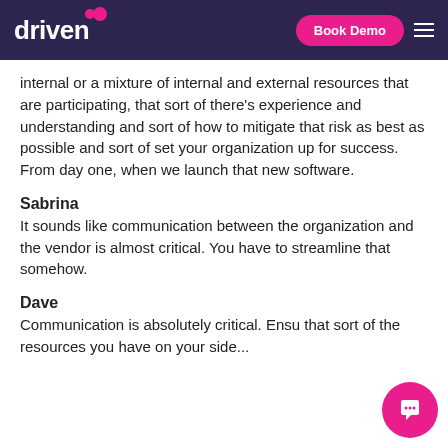driven | Book Demo
internal or a mixture of internal and external resources that are participating, that sort of there's experience and understanding and sort of how to mitigate that risk as best as possible and sort of set your organization up for success. From day one, when we launch that new software.
Sabrina
It sounds like communication between the organization and the vendor is almost critical. You have to streamline that somehow.
Dave
Communication is absolutely critical. Ensu... that sort of the resources you have on your side...